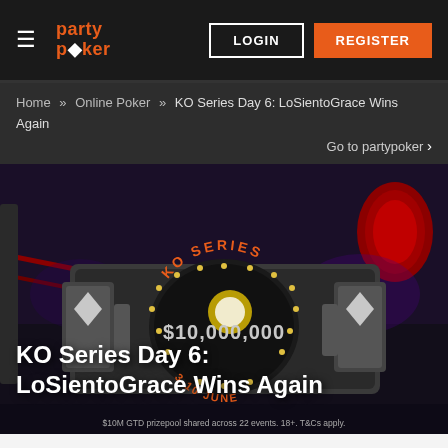partypoker | LOGIN | REGISTER
Home » Online Poker » KO Series Day 6: LoSientoGrace Wins Again
Go to partypoker >
[Figure (photo): KO Series championship belt showing $10,000,000 prize pool, 3-10 June event dates. Background shows boxing ring setting with neon lighting.]
KO Series Day 6: LoSientoGrace Wins Again
$10M GTD prizepool shared across 22 events. 18+. T&Cs apply.